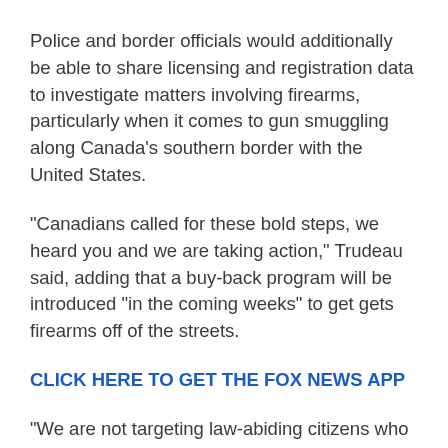Police and border officials would additionally be able to share licensing and registration data to investigate matters involving firearms, particularly when it comes to gun smuggling along Canada's southern border with the United States.
"Canadians called for these bold steps, we heard you and we are taking action," Trudeau said, adding that a buy-back program will be introduced “in the coming weeks” to get gets firearms off of the streets.
CLICK HERE TO GET THE FOX NEWS APP
"We are not targeting law-abiding citizens who own guns to go hunting or for sport," the prime minister said. "The measures we are enforcing are concrete and practical